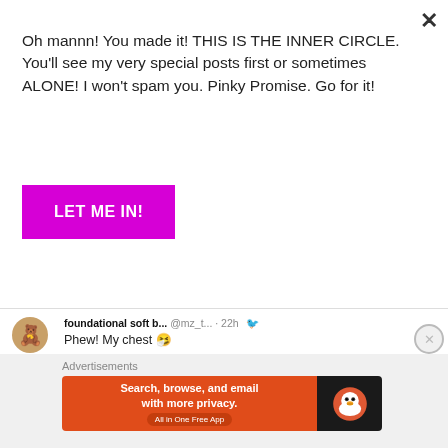Oh mannn! You made it! THIS IS THE INNER CIRCLE. You'll see my very special posts first or sometimes ALONE! I won't spam you. Pinky Promise. Go for it!
LET ME IN!
foundational soft b... @mz_t... · 22h
Phew! My chest 🤧
foundational soft b... @mz_t... · Aug 17
Not my generator plug deciding to burn this midnight. God abeg 😭
[1 like]
Advertisements
Search, browse, and email with more privacy.
All in One Free App